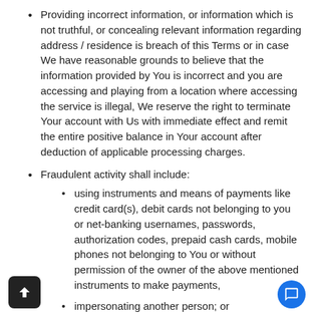Providing incorrect information, or information which is not truthful, or concealing relevant information regarding address / residence is breach of this Terms or in case We have reasonable grounds to believe that the information provided by You is incorrect and you are accessing and playing from a location where accessing the service is illegal, We reserve the right to terminate Your account with Us with immediate effect and remit the entire positive balance in Your account after deduction of applicable processing charges.
Fraudulent activity shall include:
using instruments and means of payments like credit card(s), debit cards not belonging to you or net-banking usernames, passwords, authorization codes, prepaid cash cards, mobile phones not belonging to You or without permission of the owner of the above mentioned instruments to make payments,
impersonating another person; or
Without authorization accessing and using another User's account.
In case your account is terminated due to any breach of